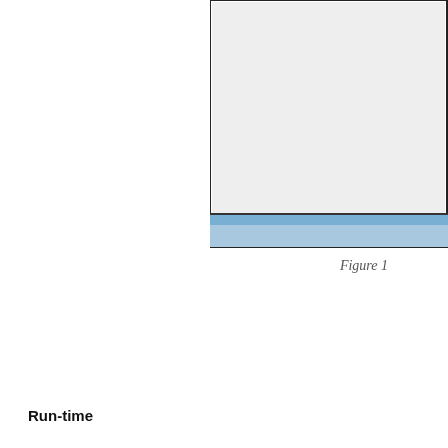[Figure (screenshot): Partial view of a framed UI or diagram element with a light gray interior and a blue bottom border strip, cut off at the top and right edges of the page.]
Figure 1
Run-time